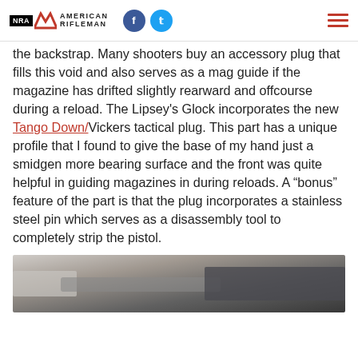NRA American Rifleman
the backstrap. Many shooters buy an accessory plug that fills this void and also serves as a mag guide if the magazine has drifted slightly rearward and offcourse during a reload. The Lipsey's Glock incorporates the new Tango Down/Vickers tactical plug. This part has a unique profile that I found to give the base of my hand just a smidgen more bearing surface and the front was quite helpful in guiding magazines in during reloads. A “bonus” feature of the part is that the plug incorporates a stainless steel pin which serves as a disassembly tool to completely strip the pistol.
[Figure (photo): Close-up photograph of a firearm part or pistol component]